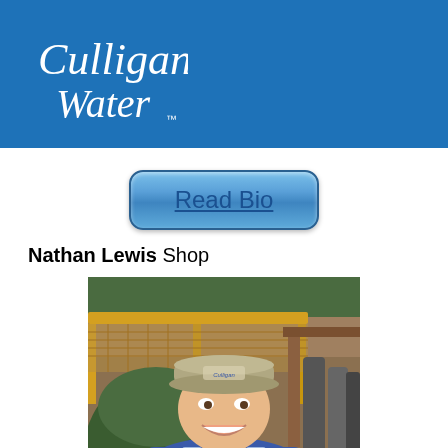[Figure (logo): Culligan Water logo in white italic script on blue background header bar]
[Figure (other): Blue rounded rectangle button with the text 'Read Bio' in blue underlined text]
Nathan Lewis Shop
[Figure (photo): Photo of Nathan Lewis smiling in a Culligan branded cap and blue Culligan shirt, standing in a water treatment shop/warehouse with green tanks, yellow shelving, and equipment in the background]